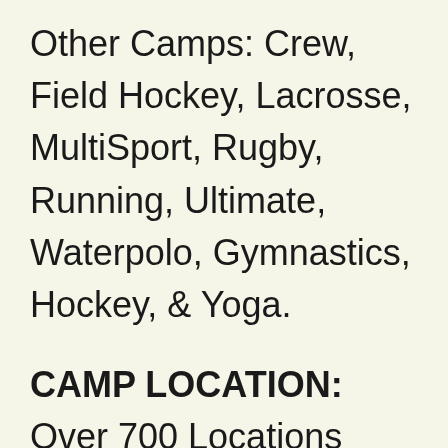Other Camps: Crew, Field Hockey, Lacrosse, MultiSport, Rugby, Running, Ultimate, Waterpolo, Gymnastics, Hockey, & Yoga.
CAMP LOCATION: Over 700 Locations throughout the US and Canada. International locations, too. Please visit